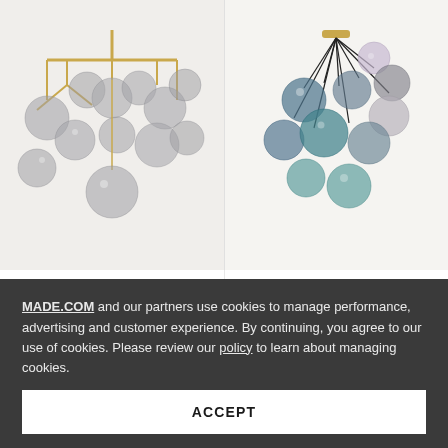[Figure (photo): Globe chandelier with brass frame and multiple smoked glass globe bulbs, partially cropped at top]
[Figure (photo): Ilaria extra large cluster pendant with multiple coloured glass globes in teal, grey, pink on brass fittings, partially cropped at top]
Globe
Chandelier, Brass and Smoked Glass
£ 150  £ 225
Ilaria
Extra Large Cluster Pendant, Multicolour & Brass
£ 325
MADE.COM and our partners use cookies to manage performance, advertising and customer experience. By continuing, you agree to our use of cookies. Please review our policy to learn about managing cookies.
ACCEPT